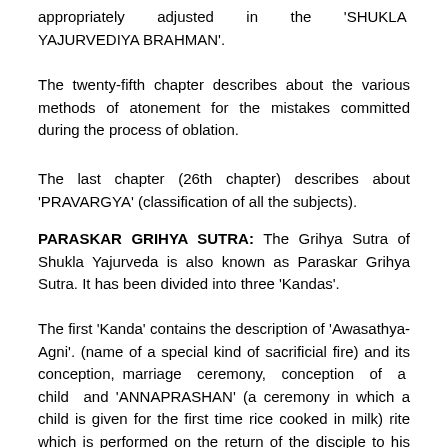appropriately adjusted in the 'SHUKLA YAJURVEDIYA BRAHMAN'.
The twenty-fifth chapter describes about the various methods of atonement for the mistakes committed during the process of oblation.
The last chapter (26th chapter) describes about 'PRAVARGYA' (classification of all the subjects).
PARASKAR GRIHYA SUTRA: The Grihya Sutra of Shukla Yajurveda is also known as Paraskar Grihya Sutra. It has been divided into three 'Kandas'.
The first 'Kanda' contains the description of 'Awasathya-Agni'. (name of a special kind of sacrificial fire) and its conception, marriage ceremony, conception of a child and 'ANNAPRASHAN' (a ceremony in which a child is given for the first time rice cooked in milk) rite which is performed on the return of the disciple to his household after finishing his studies), 'Panchamaha Yagya' (five essential duties of a